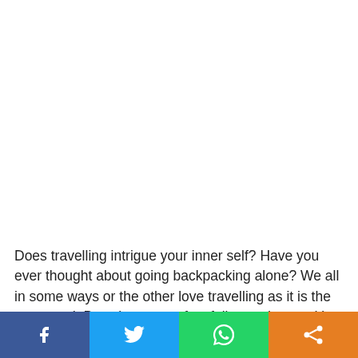Does travelling intrigue your inner self? Have you ever thought about going backpacking alone? We all in some ways or the other love travelling as it is the new trend. But what most of us fail to understand is how to plan a group or solo trip. How about I say we have got it all planned for you and all that you have to do is attend a traveller's meet and then you're just about good
[Figure (infographic): Social media share bar with four buttons: Facebook (blue), Twitter (light blue), WhatsApp (green), Share/generic (orange). Each button shows the respective icon in white.]